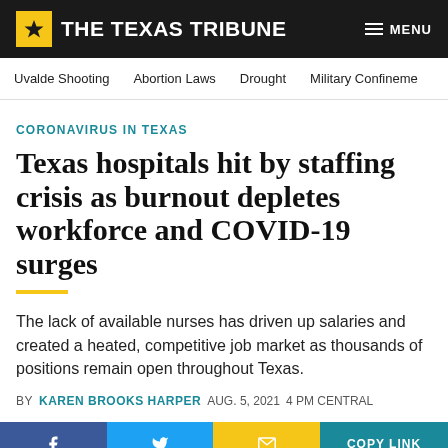THE TEXAS TRIBUNE
Uvalde Shooting  Abortion Laws  Drought  Military Confineme
CORONAVIRUS IN TEXAS
Texas hospitals hit by staffing crisis as burnout depletes workforce and COVID-19 surges
The lack of available nurses has driven up salaries and created a heated, competitive job market as thousands of positions remain open throughout Texas.
BY KAREN BROOKS HARPER  AUG. 5, 2021  4 PM CENTRAL